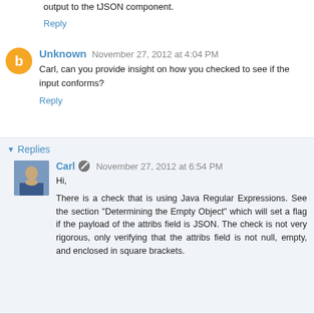output to the tJSON component.
Reply
Unknown  November 27, 2012 at 4:04 PM
Carl, can you provide insight on how you checked to see if the input conforms?
Reply
Replies
Carl  November 27, 2012 at 6:54 PM
Hi,
There is a check that is using Java Regular Expressions. See the section "Determining the Empty Object" which will set a flag if the payload of the attribs field is JSON. The check is not very rigorous, only verifying that the attribs field is not null, empty, and enclosed in square brackets.